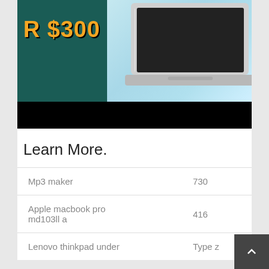[Figure (screenshot): YouTube thumbnail showing a laptop (Acer) on a teal/blue background with text 'R $300' in yellow/orange bold font and a YouTube play button logo]
Learn More.
| Mp3 maker | 730 |
| Apple macbook pro md103ll a | 416 |
| Lenovo thinkpad under | Type z |